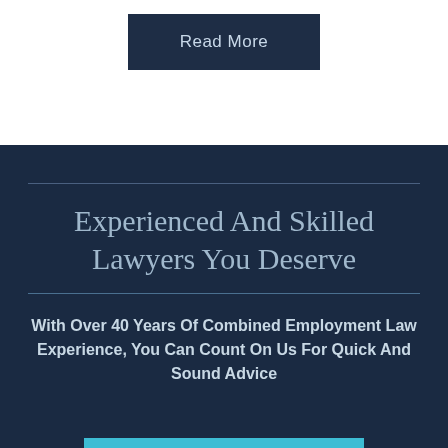Read More
Experienced And Skilled Lawyers You Deserve
With Over 40 Years Of Combined Employment Law Experience, You Can Count On Us For Quick And Sound Advice